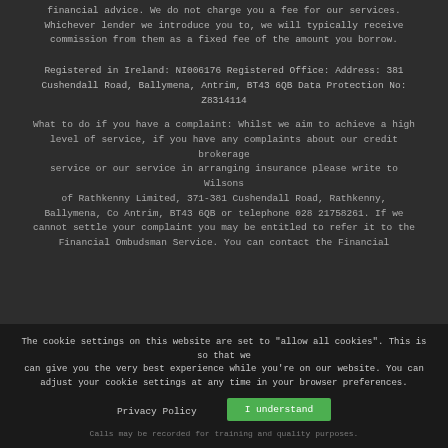financial advice. We do not charge you a fee for our services. Whichever lender we introduce you to, we will typically receive commission from them as a fixed fee of the amount you borrow.
Registered in Ireland: NI006176 Registered Office: Address: 381 Cushendall Road, Ballymena, Antrim, BT43 6QB Data Protection No: Z8314114
What to do if you have a complaint: Whilst we aim to achieve a high level of service, if you have any complaints about our credit brokerage service or our service in arranging insurance please write to Wilsons of Rathkenny Limited, 371-381 Cushendall Road, Rathkenny, Ballymena, Co Antrim, BT43 6QB or telephone 028 21758261. If we cannot settle your complaint you may be entitled to refer it to the Financial Ombudsman Service. You can contact the Financial
The cookie settings on this website are set to "allow all cookies". This is so that we can give you the very best experience while you're on our website. You can adjust your cookie settings at any time in your browser preferences.
Privacy Policy
I understand
Calls may be recorded for training and quality purposes.